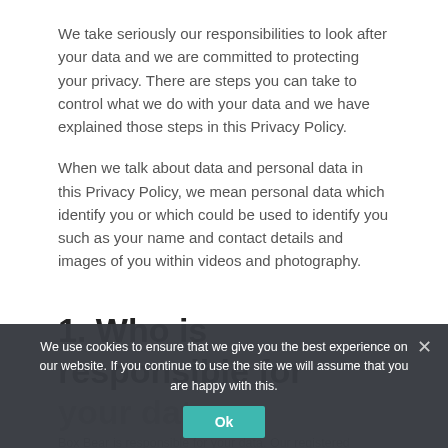We take seriously our responsibilities to look after your data and we are committed to protecting your privacy. There are steps you can take to control what we do with your data and we have explained those steps in this Privacy Policy.
When we talk about data and personal data in this Privacy Policy, we mean personal data which identify you or which could be used to identify you such as your name and contact details and images of you within videos and photography.
1. Who is responsible for your data
Box Bear is responsible for your data. Our registered address is Technology House, 10 Pinehill Road, Crowthorne, RG45 7JD. We are
We use cookies to ensure that we give you the best experience on our website. If you continue to use the site we will assume that you are happy with this.